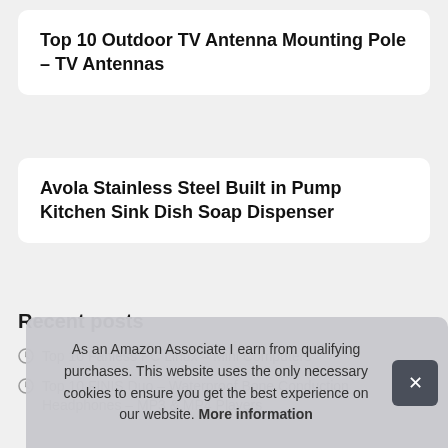Top 10 Outdoor TV Antenna Mounting Pole – TV Antennas
Avola Stainless Steel Built in Pump Kitchen Sink Dish Soap Dispenser
Recent posts
Top 10 Fanless PC Linux – Mini Computers
Top 10 FINIS Duo – Waterproof Bone Conduction Headphones – MP3 & MP4 Players
T… Scop…
T…
As an Amazon Associate I earn from qualifying purchases. This website uses the only necessary cookies to ensure you get the best experience on our website. More information